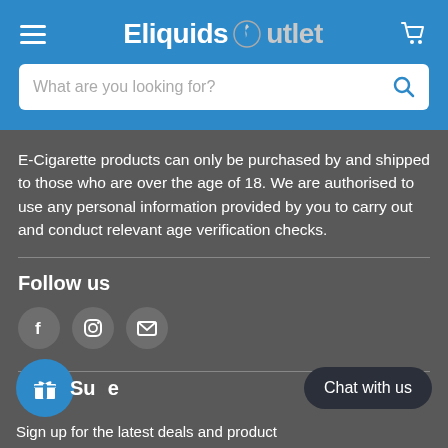[Figure (screenshot): Website header for Eliquids Outlet with hamburger menu, logo, cart icon, and search bar on blue background]
E-Cigarette products can only be purchased by and shipped to those who are over the age of 18. We are authorised to use any personal information provided by you to carry out and conduct relevant age verification checks.
Follow us
[Figure (infographic): Social media icons: Facebook, Instagram, Email]
Subscribe
Chat with us
Sign up for the latest deals and product